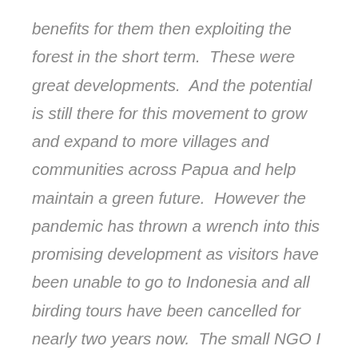benefits for them then exploiting the forest in the short term.  These were great developments.  And the potential is still there for this movement to grow and expand to more villages and communities across Papua and help maintain a green future.  However the pandemic has thrown a wrench into this promising development as visitors have been unable to go to Indonesia and all birding tours have been cancelled for nearly two years now.  The small NGO I work with, Papua Konservasi, has been sending donations directly to villages to help them get by during this time.  Any purchase you make of a bird-of-paradise print during my sale will help this cause, so thanks for your consideration.  Helping support these local landowners, the guardians of the forests where birds-of-paradise live, is the most direct way I can think of